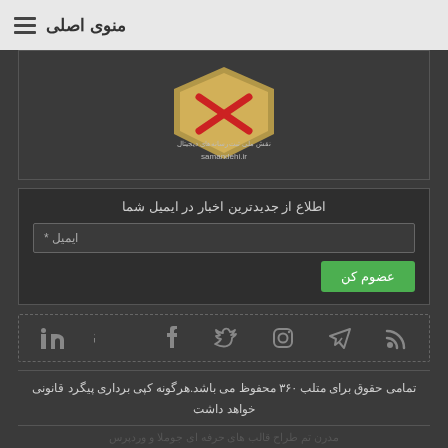منوی اصلی
[Figure (logo): Website trust/registration logo with samandehi.ir URL]
اطلاع از جدیدترین اخبار در ایمیل شما
ایمیل *
عضوم کن
[Figure (infographic): Social media icons row: RSS, Telegram, Instagram, Twitter, Facebook, Google+, LinkedIn]
تمامی حقوق برای متلب ۳۶۰ محفوظ می باشد.هرگونه کپی برداری پیگرد قانونی خواهد داشت
مدرن تم طراح قالب های حرفه ای جوملا و وردپرس